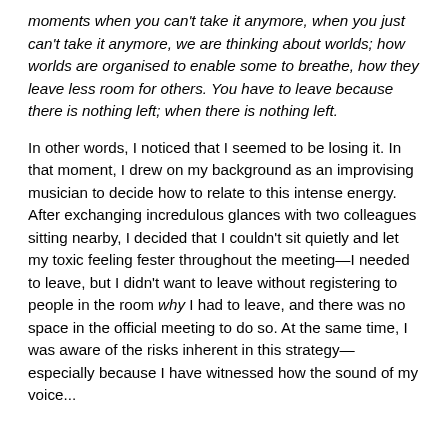moments when you can't take it anymore, when you just can't take it anymore, we are thinking about worlds; how worlds are organised to enable some to breathe, how they leave less room for others. You have to leave because there is nothing left; when there is nothing left.
In other words, I noticed that I seemed to be losing it. In that moment, I drew on my background as an improvising musician to decide how to relate to this intense energy. After exchanging incredulous glances with two colleagues sitting nearby, I decided that I couldn't sit quietly and let my toxic feeling fester throughout the meeting—I needed to leave, but I didn't want to leave without registering to people in the room why I had to leave, and there was no space in the official meeting to do so. At the same time, I was aware of the risks inherent in this strategy—especially because I have witnessed how the sound of my voice...